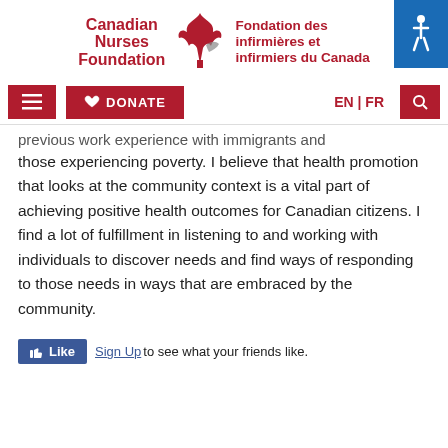[Figure (logo): Canadian Nurses Foundation / Fondation des infirmières et infirmiers du Canada logo with maple leaf]
[Figure (screenshot): Navigation bar with menu, donate, EN/FR language toggle, and search buttons]
previous work experience with immigrants and those experiencing poverty. I believe that health promotion that looks at the community context is a vital part of achieving positive health outcomes for Canadian citizens. I find a lot of fulfillment in listening to and working with individuals to discover needs and find ways of responding to those needs in ways that are embraced by the community.
[Figure (screenshot): Facebook Like button with Sign Up link: 'Sign Up to see what your friends like.']